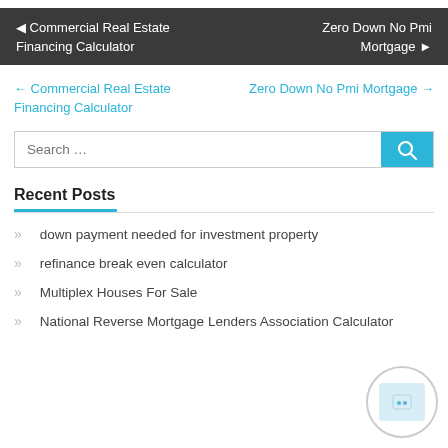◄ Commercial Real Estate Financing Calculator   Zero Down No Pmi Mortgage ►
← Commercial Real Estate Financing Calculator   Zero Down No Pmi Mortgage →
Search …
Recent Posts
down payment needed for investment property
refinance break even calculator
Multiplex Houses For Sale
National Reverse Mortgage Lenders Association Calculator